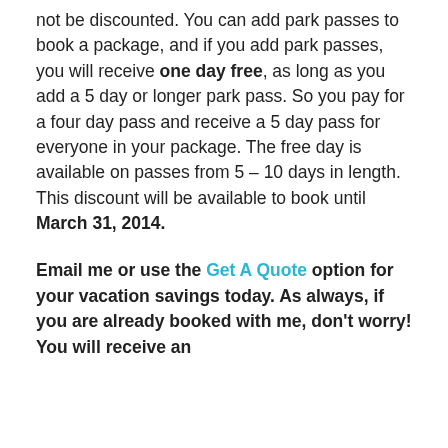not be discounted. You can add park passes to book a package, and if you add park passes, you will receive one day free, as long as you add a 5 day or longer park pass. So you pay for a four day pass and receive a 5 day pass for everyone in your package. The free day is available on passes from 5 – 10 days in length. This discount will be available to book until March 31, 2014.
Email me or use the Get A Quote option for your vacation savings today. As always, if you are already booked with me, don't worry! You will receive an